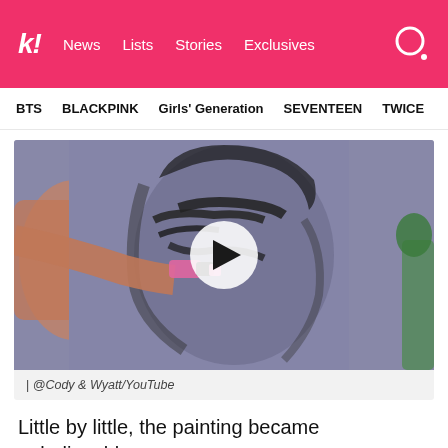k! News  Lists  Stories  Exclusives
BTS  BLACKPINK  Girls' Generation  SEVENTEEN  TWICE
[Figure (screenshot): Video thumbnail showing a person painting a portrait on a large canvas/wall. The painting appears to be a face rendered in dark hues on a grey-purple background. A white circular play button overlay is centered on the image.]
| @Cody & Wyatt/YouTube
Little by little, the painting became unbelievably